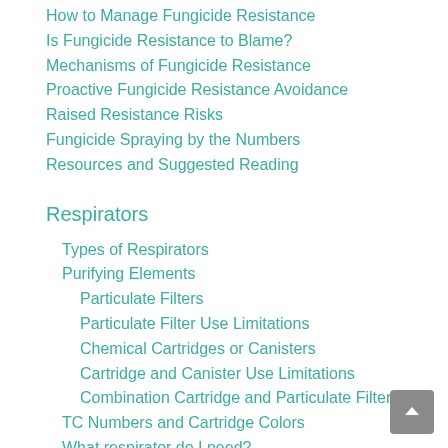How to Manage Fungicide Resistance
Is Fungicide Resistance to Blame?
Mechanisms of Fungicide Resistance
Proactive Fungicide Resistance Avoidance
Raised Resistance Risks
Fungicide Spraying by the Numbers
Resources and Suggested Reading
Respirators
Types of Respirators
Purifying Elements
Particulate Filters
Particulate Filter Use Limitations
Chemical Cartridges or Canisters
Cartridge and Canister Use Limitations
Combination Cartridge and Particulate Filters
TC Numbers and Cartridge Colors
What respirator do I need?